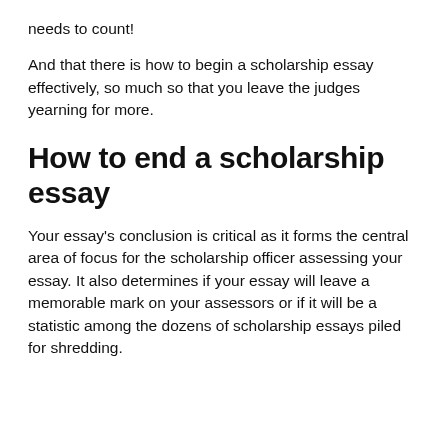needs to count!
And that there is how to begin a scholarship essay effectively, so much so that you leave the judges yearning for more.
How to end a scholarship essay
Your essay's conclusion is critical as it forms the central area of focus for the scholarship officer assessing your essay. It also determines if your essay will leave a memorable mark on your assessors or if it will be a statistic among the dozens of scholarship essays piled for shredding.